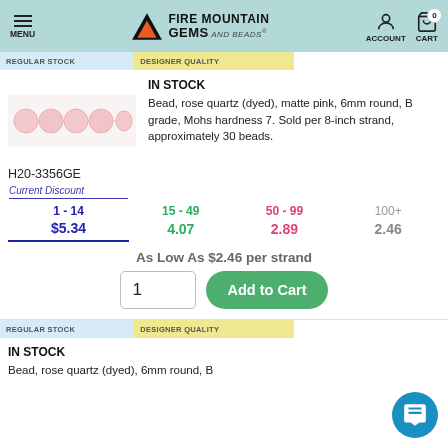MENU | FIRE MOUNTAIN GEMS and Beads | ACCOUNT | CART 0
REGULAR STOCK | DESIGNER QUALITY
IN STOCK
Bead, rose quartz (dyed), matte pink, 6mm round, B grade, Mohs hardness 7. Sold per 8-inch strand, approximately 30 beads.
H20-3356GE
| Current Discount | 15 - 49 | 50 - 99 | 100+ |
| --- | --- | --- | --- |
| 1 - 14 | 15 - 49 | 50 - 99 | 100+ |
| $5.34 | 4.07 | 2.89 | 2.46 |
As Low As $2.46 per strand
REGULAR STOCK | DESIGNER QUALITY
IN STOCK
Bead, rose quartz (dyed), 6mm round, B